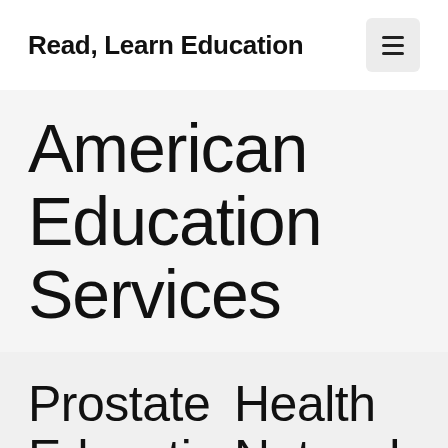Read, Learn Education
American Education Services
Prostate Education
Health Network